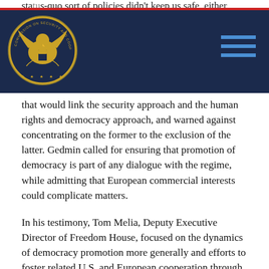status-quo sort of policies didn't keep us safe, either.
[Figure (logo): Commission on Security and Cooperation in Europe (Helsinki Commission) gold eagle seal on dark navy navigation bar with hamburger menu icon]
that would link the security approach and the human rights and democracy approach, and warned against concentrating on the former to the exclusion of the latter. Gedmin called for ensuring that promotion of democracy is part of any dialogue with the regime, while admitting that European commercial interests could complicate matters.

In his testimony, Tom Melia, Deputy Executive Director of Freedom House, focused on the dynamics of democracy promotion more generally and efforts to foster related U.S. and European cooperation through the Trans-Atlantic Democracy Network initiative involving senior government officials and NGO activists from both sides of the Atlantic. He admitted that there are a variety of European perspectives on